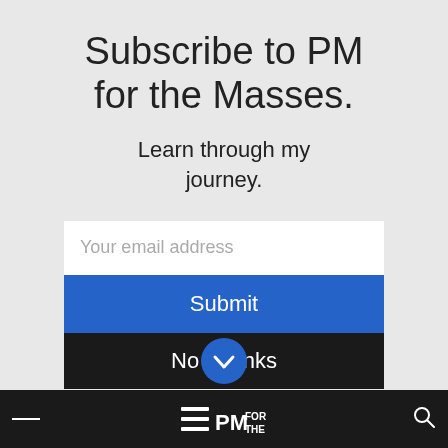Subscribe to PM for the Masses.
Learn through my journey.
[Figure (screenshot): Email input field with placeholder text 'Your email address', a blue Submit button, and a black No Thanks button]
[Figure (other): Blue circular chevron/down-arrow button]
PM FOR THE — navigation bar with hamburger menu and search icon